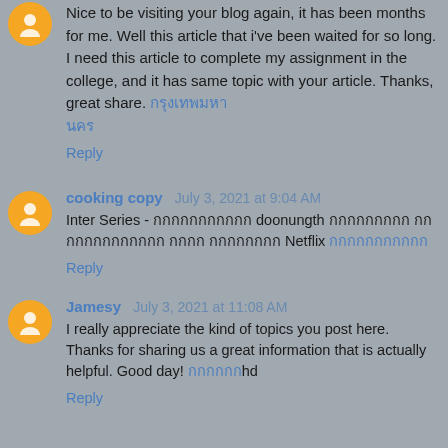Nice to be visiting your blog again, it has been months for me. Well this article that i've been waited for so long. I need this article to complete my assignment in the college, and it has same topic with your article. Thanks, great share. [Thai link] [Thai link]
Reply
cooking copy  July 3, 2021 at 9:04 AM
Inter Series - [Thai text] doonungth [Thai text] [Thai text] [Thai text] [Thai text] Netflix [Thai link]
Reply
Jamesy  July 3, 2021 at 11:08 AM
I really appreciate the kind of topics you post here. Thanks for sharing us a great information that is actually helpful. Good day! [Thai link]hd
Reply